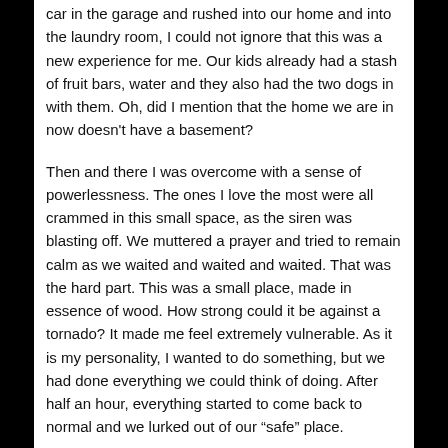car in the garage and rushed into our home and into the laundry room, I could not ignore that this was a new experience for me. Our kids already had a stash of fruit bars, water and they also had the two dogs in with them. Oh, did I mention that the home we are in now doesn't have a basement?
Then and there I was overcome with a sense of powerlessness. The ones I love the most were all crammed in this small space, as the siren was blasting off. We muttered a prayer and tried to remain calm as we waited and waited and waited. That was the hard part. This was a small place, made in essence of wood. How strong could it be against a tornado? It made me feel extremely vulnerable. As it is my personality, I wanted to do something, but we had done everything we could think of doing. After half an hour, everything started to come back to normal and we lurked out of our “safe” place.
How many times you have been in the middle of a situation that you can't do anything about? How many times it has dawn on you that you have arrived to the end